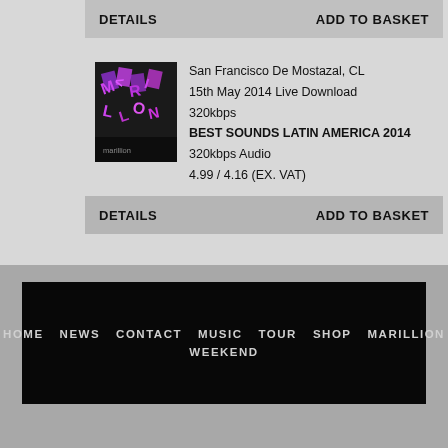| DETAILS | ADD TO BASKET |
| --- | --- |
[Figure (photo): Album cover thumbnail with purple/pink text letters on dark background for Marillion]
San Francisco De Mostazal, CL
15th May 2014 Live Download
320kbps
BEST SOUNDS LATIN AMERICA 2014
320kbps Audio
4.99 / 4.16 (EX. VAT)
| DETAILS | ADD TO BASKET |
| --- | --- |
HOME  NEWS  CONTACT  MUSIC  TOUR  SHOP  MARILLION  WEEKEND